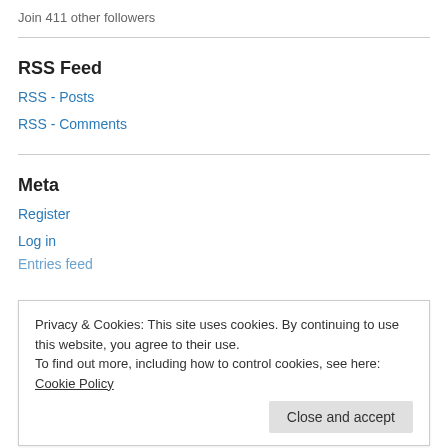Join 411 other followers
RSS Feed
RSS - Posts
RSS - Comments
Meta
Register
Log in
Entries feed
Privacy & Cookies: This site uses cookies. By continuing to use this website, you agree to their use.
To find out more, including how to control cookies, see here: Cookie Policy
Close and accept